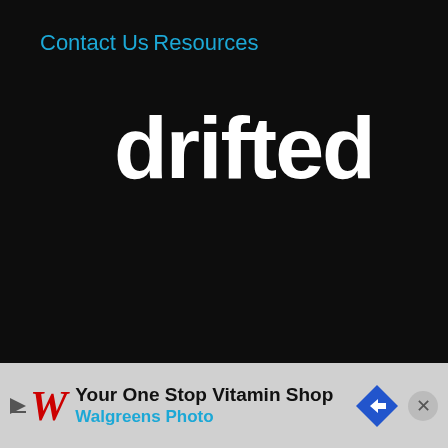Contact Us
Resources
[Figure (logo): Drifted logo — white bold rounded lowercase text 'drifted' on black background]
©COPYRIGHT 2022 DRIFTED
Privacy Policy
Cookie Policy
Terms & Conditions
[Figure (infographic): Walgreens ad banner: 'Your One Stop Vitamin Shop / Walgreens Photo' with Walgreens W logo and blue diamond arrow icon]